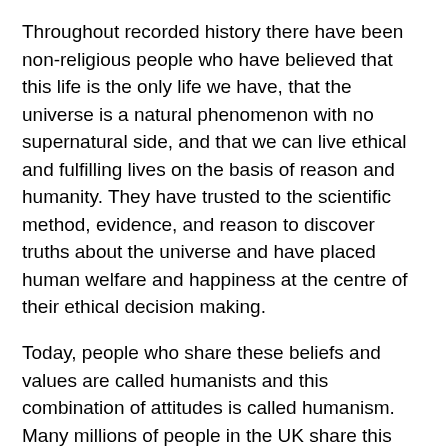Throughout recorded history there have been non-religious people who have believed that this life is the only life we have, that the universe is a natural phenomenon with no supernatural side, and that we can live ethical and fulfilling lives on the basis of reason and humanity. They have trusted to the scientific method, evidence, and reason to discover truths about the universe and have placed human welfare and happiness at the centre of their ethical decision making.
Today, people who share these beliefs and values are called humanists and this combination of attitudes is called humanism. Many millions of people in the UK share this way of living and of looking at the world, but many of them have not heard the word ‘humanist’ and don’t realise that it describes what they believe.
It is one of the main purposes of Humanists UK to